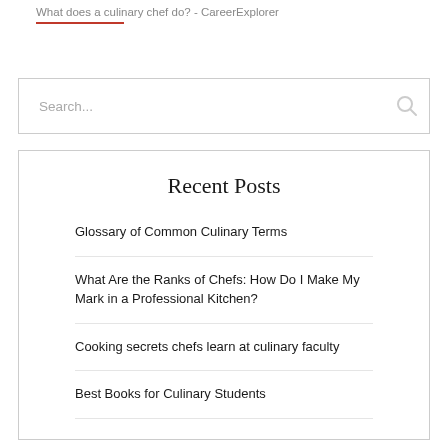What does a culinary chef do? - CareerExplorer
Search...
Recent Posts
Glossary of Common Culinary Terms
What Are the Ranks of Chefs: How Do I Make My Mark in a Professional Kitchen?
Cooking secrets chefs learn at culinary faculty
Best Books for Culinary Students